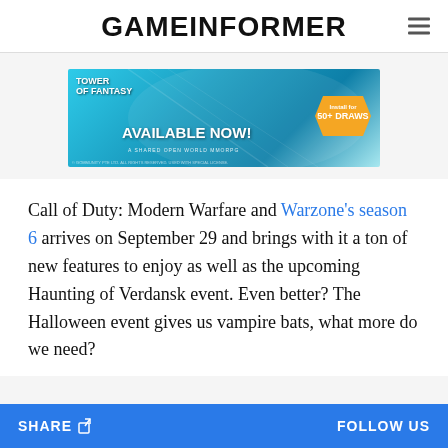GAMEINFORMER
[Figure (photo): Advertisement banner for Tower of Fantasy game. Shows anime-style characters with teal/cyan background. Text reads: TOWER OF FANTASY, AVAILABLE NOW!, A SHARED OPEN WORLD MMORPG, with a hexagonal badge reading: Install for 50+ DRAWS]
Call of Duty: Modern Warfare and Warzone's season 6 arrives on September 29 and brings with it a ton of new features to enjoy as well as the upcoming Haunting of Verdansk event. Even better? The Halloween event gives us vampire bats, what more do we need?
SHARE   FOLLOW US